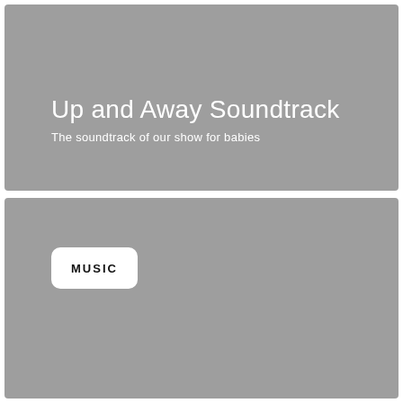[Figure (illustration): Gray banner panel with title text 'Up and Away Soundtrack' and subtitle 'The soundtrack of our show for babies' on a gray background]
Up and Away Soundtrack
The soundtrack of our show for babies
[Figure (illustration): Gray panel with a white rounded rectangle badge containing the text 'MUSIC']
MUSIC